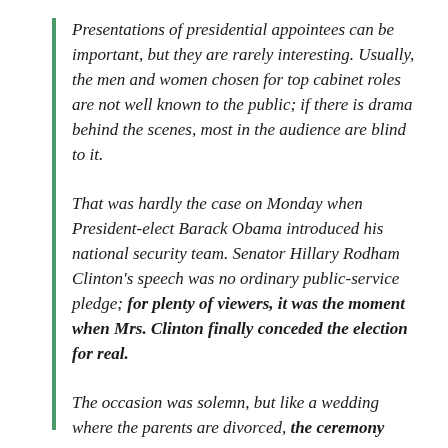Presentations of presidential appointees can be important, but they are rarely interesting. Usually, the men and women chosen for top cabinet roles are not well known to the public; if there is drama behind the scenes, most in the audience are blind to it.
That was hardly the case on Monday when President-elect Barack Obama introduced his national security team. Senator Hillary Rodham Clinton's speech was no ordinary public-service pledge; for plenty of viewers, it was the moment when Mrs. Clinton finally conceded the election for real.
The occasion was solemn, but like a wedding where the parents are divorced, the ceremony